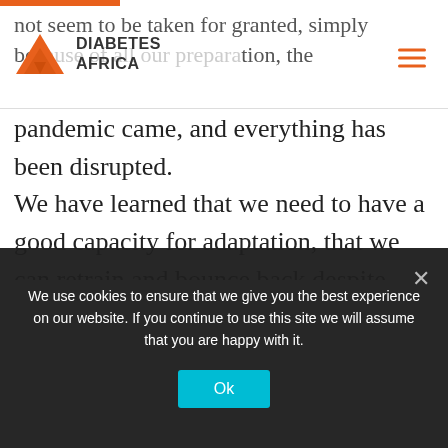DIABETES AFRICA
not seem to be taken for granted, simply because of all our preparation, the pandemic came, and everything has been disrupted.
We have learned that we need to have a good capacity for adaptation, that we can retrain and bounce back despite difficulties. This pandemic has reminded us of the importance of teamwork, and of the resilience of people and systems. It has also highlighted two very
We use cookies to ensure that we give you the best experience on our website. If you continue to use this site we will assume that you are happy with it.